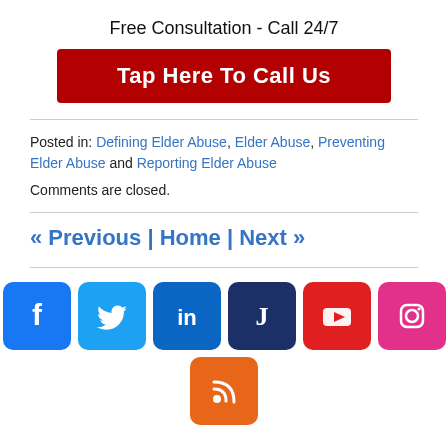Free Consultation - Call 24/7
Tap Here To Call Us
Posted in: Defining Elder Abuse, Elder Abuse, Preventing Elder Abuse and Reporting Elder Abuse
Comments are closed.
« Previous | Home | Next »
[Figure (infographic): Social media icons: Facebook, Twitter, LinkedIn, Justia, YouTube, Instagram, RSS feed]